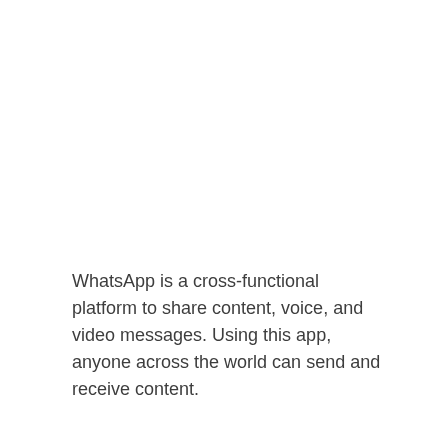WhatsApp is a cross-functional platform to share content, voice, and video messages. Using this app, anyone across the world can send and receive content.